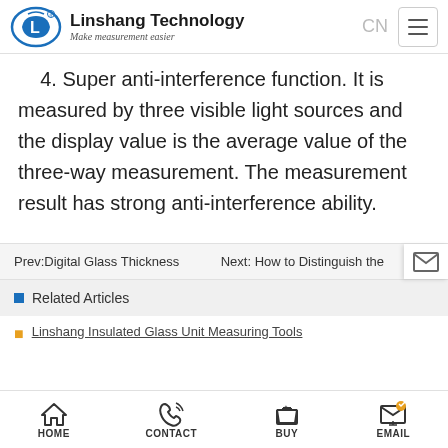Linshang Technology — Make measurement easier
4. Super anti-interference function. It is measured by three visible light sources and the display value is the average value of the three-way measurement. The measurement result has strong anti-interference ability.
Prev:Digital Glass Thickness    Next: How to Distinguish the
Related Articles
Linshang Insulated Glass Unit Measuring Tools
HOME  CONTACT  BUY  EMAIL